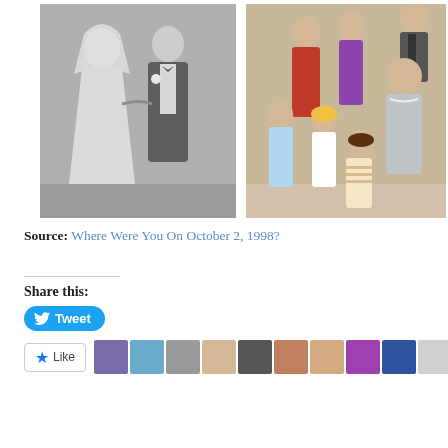[Figure (photo): Two side-by-side vintage photographs. Left: black and white wedding photo of a bride and groom. Right: color family portrait with adults and several children.]
Source: Where Were You On October 2, 1998?
Share this:
[Figure (other): Tweet button in blue with Twitter bird icon]
[Figure (other): Like button with star icon followed by a row of user avatar thumbnails]